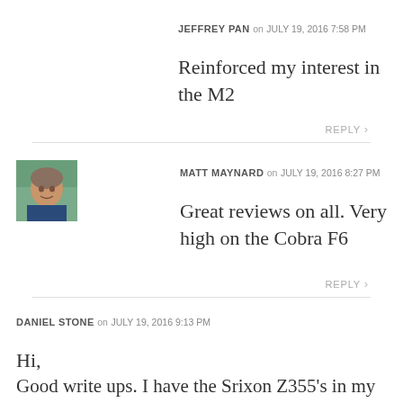JEFFREY PAN on JULY 19, 2016 7:58 PM
Reinforced my interest in the M2
REPLY >
[Figure (photo): Avatar photo of Matt Maynard]
MATT MAYNARD on JULY 19, 2016 8:27 PM
Great reviews on all. Very high on the Cobra F6
REPLY >
DANIEL STONE on JULY 19, 2016 9:13 PM
Hi,

Good write ups. I have the Srixon Z355's in my bag. Your assessment is spot on. I do like the look of the XR OS model from